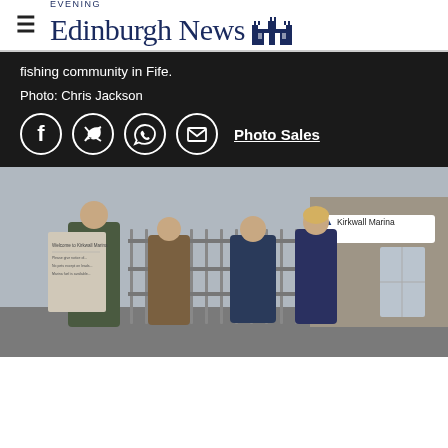Edinburgh Evening News
fishing community in Fife.
Photo: Chris Jackson
[Figure (infographic): Social sharing icons: Facebook, Twitter, WhatsApp, Email circles, and Photo Sales link]
[Figure (photo): Four people standing outside Kirkwall Marina building. Two men and two women in outdoor clothing, talking in front of metal railings. A sign reads 'Kirkwall Marina' on a stone building behind them.]